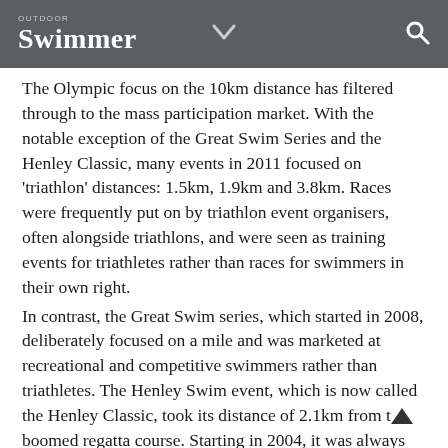Outdoor Swimmer
The Olympic focus on the 10km distance has filtered through to the mass participation market. With the notable exception of the Great Swim Series and the Henley Classic, many events in 2011 focused on 'triathlon' distances: 1.5km, 1.9km and 3.8km. Races were frequently put on by triathlon event organisers, often alongside triathlons, and were seen as training events for triathletes rather than races for swimmers in their own right.
In contrast, the Great Swim series, which started in 2008, deliberately focused on a mile and was marketed at recreational and competitive swimmers rather than triathletes. The Henley Swim event, which is now called the Henley Classic, took its distance of 2.1km from the boomed regatta course. Starting in 2004, it was always targeted at swimmers.
In 2011...